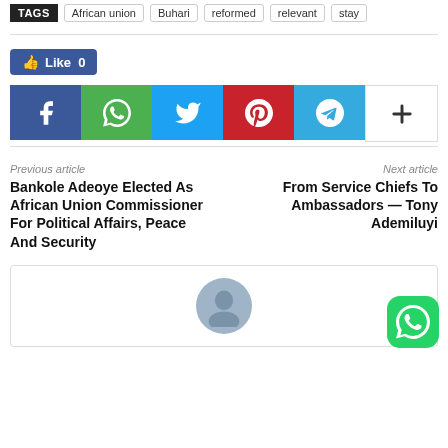TAGS | African union | Buhari | reformed | relevant | stay
[Figure (screenshot): Social share bar with Like button (Facebook Like 0) and share icons: Facebook, WhatsApp, Twitter, Pinterest, Telegram, More (+)]
Previous article
Bankole Adeoye Elected As African Union Commissioner For Political Affairs, Peace And Security
Next article
From Service Chiefs To Ambassadors — Tony Ademiluyi
[Figure (photo): Author box with avatar placeholder silhouette image, partially visible at bottom of page]